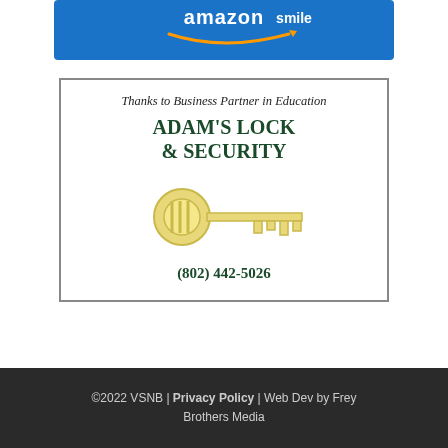[Figure (logo): Amazon Smile logo banner in blue with orange arrow smile graphic]
[Figure (advertisement): Ad box with border: Thanks to Business Partner in Education - ADAM'S LOCK & SECURITY with key illustration and phone number (802) 442-5026]
©2022 VSNB | Privacy Policy | Web Dev by Frey Brothers Media